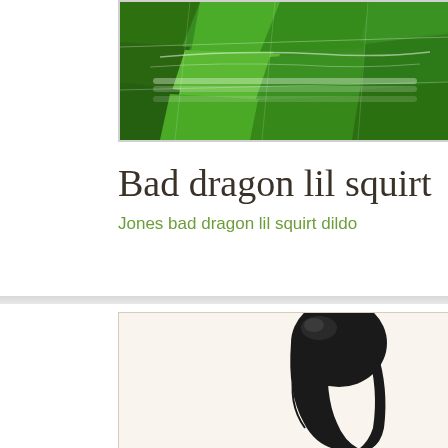[Figure (photo): Aerial or landscape photo of green terraced fields or farmland, cropped at top, showing lush green patches.]
Bad dragon lil squirt
Jones bad dragon lil squirt dildo
[Figure (photo): A black curved smooth product (dildo) photographed against a white/cream background, partially cropped, showing a curved J-shape.]